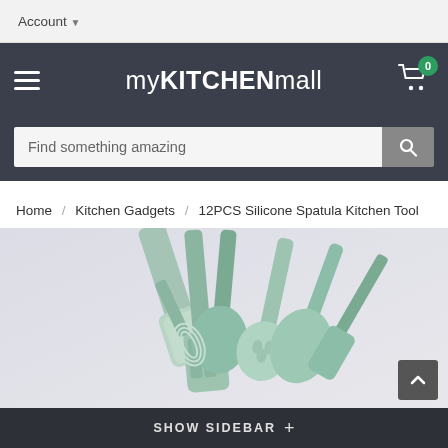Account
myKITCHENmall
Find something amazing
Home / Kitchen Gadgets / 12PCS Silicone Spatula Kitchen Tool
[Figure (photo): 12PCS silicone kitchen tool set including spatulas, slotted spoon, ladle, and whisk in mint/sage green color, displayed fanned out on a light background]
SHOW SIDEBAR +